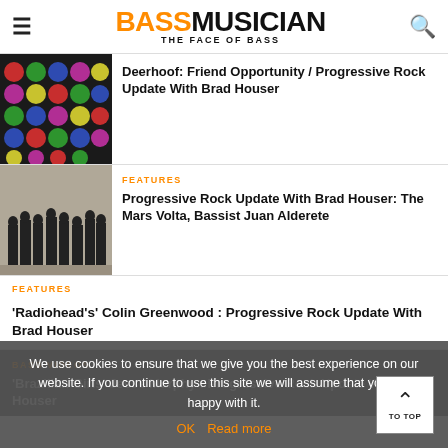BASS MUSICIAN — THE FACE OF BASS
Deerhoof: Friend Opportunity / Progressive Rock Update With Brad Houser
FEATURES
Progressive Rock Update With Brad Houser: The Mars Volta, Bassist Juan Alderete
FEATURES
'Radiohead's' Colin Greenwood : Progressive Rock Update With Brad Houser
BASS VIDEOS
'Brazilian Girls' Jesse Murphy : Progressive Rock Update With Brad Houser
We use cookies to ensure that we give you the best experience on our website. If you continue to use this site we will assume that you are happy with it.
OK   Read more